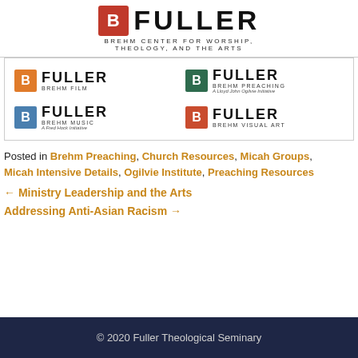[Figure (logo): Fuller Brehm Center for Worship, Theology, and the Arts logo — large red B icon and FULLER wordmark with subtitle]
[Figure (logo): Grid of four Fuller Brehm logos: Brehm Film (orange), Brehm Preaching (green), Brehm Music (blue), Brehm Visual Art (red/orange)]
Posted in Brehm Preaching, Church Resources, Micah Groups, Micah Intensive Details, Ogilvie Institute, Preaching Resources
← Ministry Leadership and the Arts
Addressing Anti-Asian Racism →
© 2020 Fuller Theological Seminary